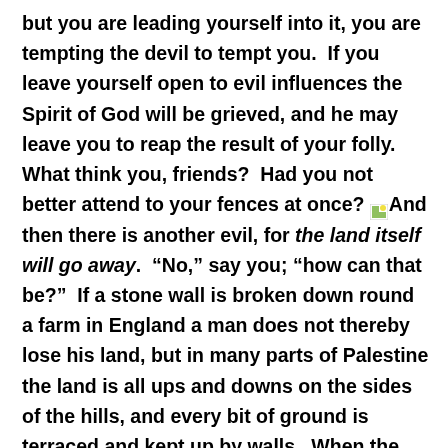but you are leading yourself into it, you are tempting the devil to tempt you.  If you leave yourself open to evil influences the Spirit of God will be grieved, and he may leave you to reap the result of your folly.  What think you, friends?  Had you not better attend to your fences at once? [image] And then there is another evil, for the land itself will go away.  "No," say you; "how can that be?"  If a stone wall is broken down round a farm in England a man does not thereby lose his land, but in many parts of Palestine the land is all ups and downs on the sides of the hills, and every bit of ground is terraced and kept up by walls.  When the walls fall the soil slips over, terrace upon terrace, and the vines and trees go down with it; then the rain comes and washes the soil away, and nothing is left but barren crags which would starve a lark.  In the